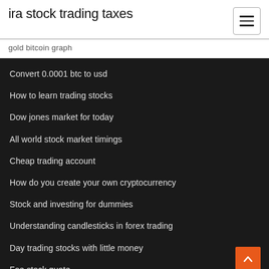ira stock trading taxes
gold bitcoin graph
Convert 0.0001 btc to usd
How to learn trading stocks
Dow jones market for today
All world stock market timings
Cheap trading account
How do you create your own cryptocurrency
Stock and investing for dummies
Understanding candlesticks in forex trading
Day trading stocks with little money
Foe stock quote